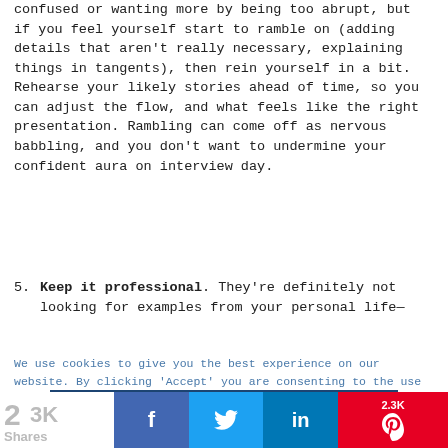confused or wanting more by being too abrupt, but if you feel yourself start to ramble on (adding details that aren't really necessary, explaining things in tangents), then rein yourself in a bit. Rehearse your likely stories ahead of time, so you can adjust the flow, and what feels like the right presentation. Rambling can come off as nervous babbling, and you don't want to undermine your confident aura on interview day.
5. Keep it professional. They're definitely not looking for examples from your personal life—
We use cookies to give you the best experience on our website. By clicking 'Accept' you are consenting to the use of this data as outlined in our Privacy and Cookie Policy.